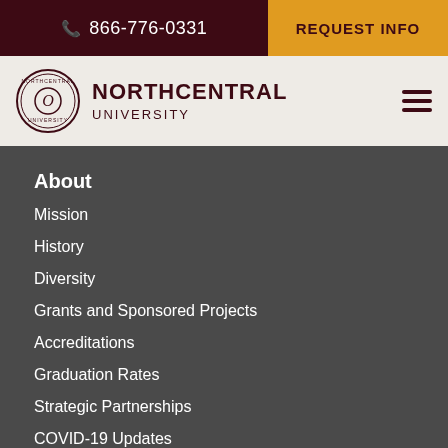866-776-0331 | REQUEST INFO
[Figure (logo): Northcentral University circular seal logo with text NORTHCENTRAL UNIVERSITY]
About
Mission
History
Diversity
Grants and Sponsored Projects
Accreditations
Graduation Rates
Strategic Partnerships
COVID-19 Updates
Admissions